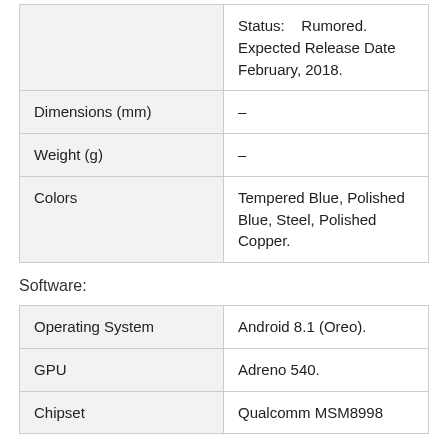|  |  |
| --- | --- |
|  | Status:    Rumored.
Expected Release Date
February, 2018. |
| Dimensions (mm) | – |
| Weight (g) | – |
| Colors | Tempered Blue, Polished Blue, Steel, Polished Copper. |
Software:
|  |  |
| --- | --- |
| Operating System | Android 8.1 (Oreo). |
| GPU | Adreno 540. |
| Chipset | Qualcomm MSM8998 |